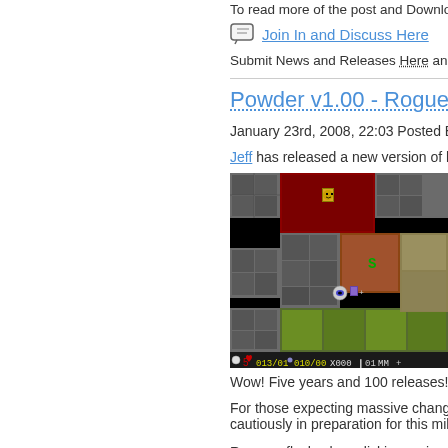To read more of the post and Download, cl
Join In and Discuss Here
Submit News and Releases Here and Contact
Powder v1.00 - Rogue Clo
January 23rd, 2008, 22:03 Posted By: wraggs
Jeff has released a new version of his Rogue c
[Figure (screenshot): Screenshot of Powder v1.00 roguelike game showing dungeon tiles, character sprites, and a status bar at the bottom displaying stats like HP and position.]
Wow! Five years and 100 releases!
For those expecting massive changes cautiously in preparation for this miles
Remove flash when clicking on invento
Properly remove base item from inven
Creatures have only 30% chance of d